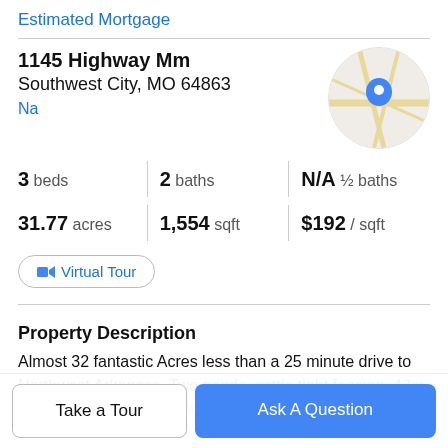Estimated Mortgage
1145 Highway Mm
Southwest City, MO 64863
Na
[Figure (map): Circular map thumbnail showing location pin on road map for Southwest City, MO]
3 beds   2 baths   N/A ½ baths
31.77 acres   1,554 sqft   $192 / sqft
Virtual Tour
Property Description
Almost 32 fantastic Acres less than a 25 minute drive to Northwest Arkansas. Two ponds, cattle tight fencing, 42 x
heat and air, new storm door and McDonald County School
Take a Tour
Ask A Question